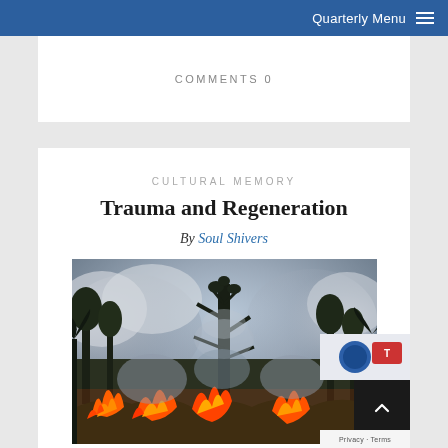Quarterly Menu
COMMENTS 0
CULTURAL MEMORY
Trauma and Regeneration
By Soul Shivers
[Figure (photo): A forest fire scene showing burning trees and smoke in what appears to be the Amazon rainforest, with tall trees silhouetted against smoky skies and orange flames visible at the base]